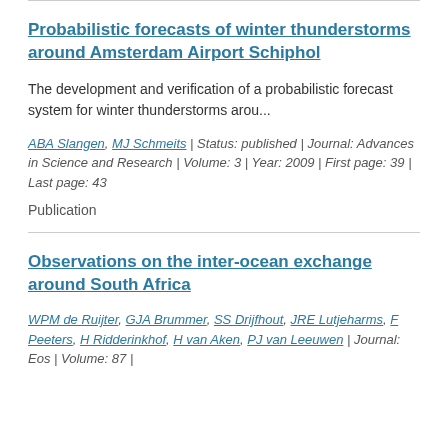Probabilistic forecasts of winter thunderstorms around Amsterdam Airport Schiphol
The development and verification of a probabilistic forecast system for winter thunderstorms arou...
ABA Slangen, MJ Schmeits | Status: published | Journal: Advances in Science and Research | Volume: 3 | Year: 2009 | First page: 39 | Last page: 43
Publication
Observations on the inter-ocean exchange around South Africa
WPM de Ruijter, GJA Brummer, SS Drijfhout, JRE Lutjeharms, F Peeters, H Ridderinkhof, H van Aken, PJ van Leeuwen | Journal: Eos | Volume: 87 |